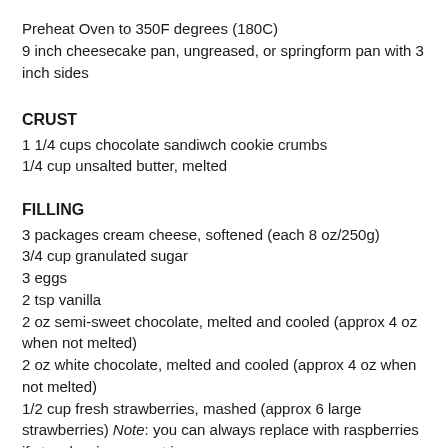Preheat Oven to 350F degrees (180C)
9 inch cheesecake pan, ungreased, or springform pan with 3 inch sides
CRUST
1 1/4 cups chocolate sandiwch cookie crumbs
1/4 cup unsalted butter, melted
FILLING
3 packages cream cheese, softened (each 8 oz/250g)
3/4 cup granulated sugar
3 eggs
2 tsp vanilla
2 oz semi-sweet chocolate, melted and cooled (approx 4 oz when not melted)
2 oz white chocolate, melted and cooled (approx 4 oz when not melted)
1/2 cup fresh strawberries, mashed (approx 6 large strawberries) Note: you can always replace with raspberries if strawberries are not in season.